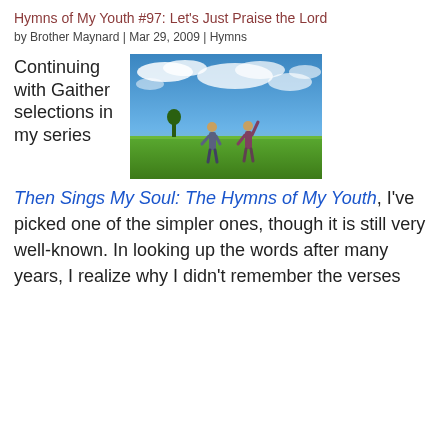Hymns of My Youth #97: Let's Just Praise the Lord
by Brother Maynard | Mar 29, 2009 | Hymns
Continuing with Gaither selections in my series
[Figure (photo): Two people standing in a green field with hands raised under a blue sky with white clouds]
Then Sings My Soul: The Hymns of My Youth, I've picked one of the simpler ones, though it is still very well-known. In looking up the words after many years, I realize why I didn't remember the verses